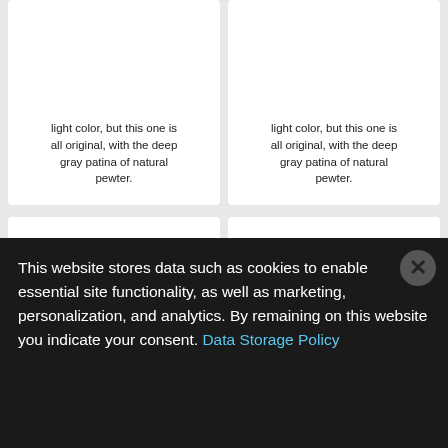light color, but this one is all original, with the deep gray patina of natural pewter.
light color, but this one is all original, with the deep gray patina of natural pewter.
1787 Copper Immunis Columbia Eagle Reverse, Plain Edge XF45BN
PCGS #841
I don't believe I have ever seen another original, XF example of this type with
1787 Copper Immunis Columbia Eagle Reverse, Plain Edge XF45BN
PCGS #841
I don't believe I have ever seen another original, XF example of this type with
This website stores data such as cookies to enable essential site functionality, as well as marketing, personalization, and analytics. By remaining on this website you indicate your consent. Data Storage Policy